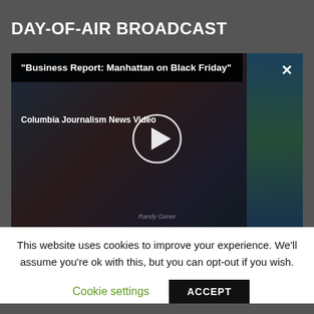DAY-OF-AIR BROADCAST
[Figure (screenshot): Video player screenshot showing 'Business Report: Manhattan on Black Friday' from Columbia Journalism News Video, with a play button overlay and close button (X) in the top right corner. Dark street scene background.]
This website uses cookies to improve your experience. We'll assume you're ok with this, but you can opt-out if you wish.
Cookie settings
ACCEPT